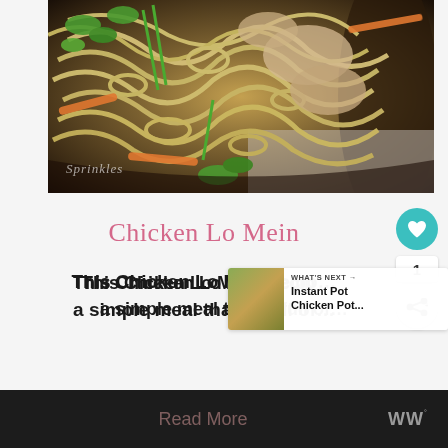[Figure (photo): Close-up photo of chicken lo mein in a wok — noodles, chicken pieces, carrots, green onions, and leafy greens. Watermark reads 'Sprinkles' in bottom left.]
Chicken Lo Mein
This Chicken Lo Mein recip… a simple meal that is full of…
WHAT'S NEXT → Instant Pot Chicken Pot...
Read More
[Figure (logo): WW logo (white stylized letters) in the bottom right of the dark bar]